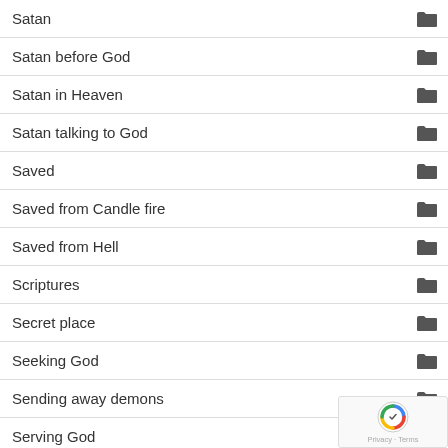Satan
Satan before God
Satan in Heaven
Satan talking to God
Saved
Saved from Candle fire
Saved from Hell
Scriptures
Secret place
Seeking God
Sending away demons
Serving God
Sex matters